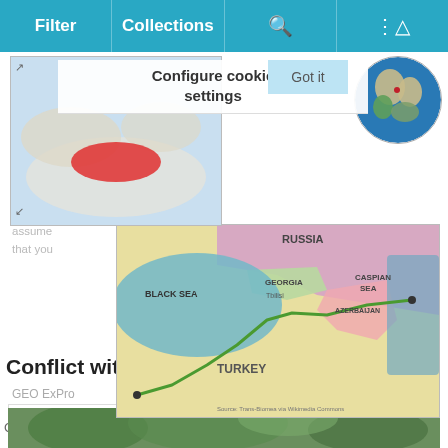Filter | Collections | [search icon] | [share icon]
[Figure (map): Cookie settings overlay with 'Configure cookie settings' title and 'Got it' button, overlaid on a map of Turkey region]
[Figure (map): Pipeline route map showing BTC pipeline through Georgia, Azerbaijan, Turkey from Baku to Ceyhan, with Russia, Black Sea, Caspian Sea labeled]
[Figure (map): Globe showing Europe/Middle East/Africa region]
Ceyhan in Southern Turkey on the eastern Mediterranean coast.
Conflict with Baghdad
GEO ExPro
website.
[Figure (photo): Trees/forest photo strip at bottom]